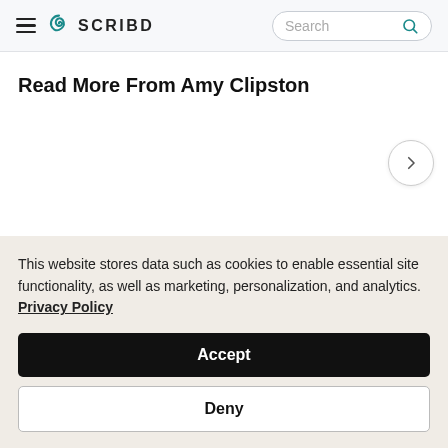SCRIBD
Read More From Amy Clipston
[Figure (other): Navigation arrow button pointing right, used to scroll through book recommendations]
This website stores data such as cookies to enable essential site functionality, as well as marketing, personalization, and analytics. Privacy Policy
Accept
Deny